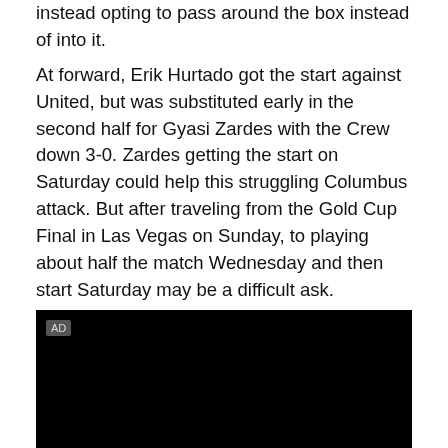instead opting to pass around the box instead of into it.
At forward, Erik Hurtado got the start against United, but was substituted early in the second half for Gyasi Zardes with the Crew down 3-0. Zardes getting the start on Saturday could help this struggling Columbus attack. But after traveling from the Gold Cup Final in Las Vegas on Sunday, to playing about half the match Wednesday and then start Saturday may be a difficult ask.
[Figure (other): Black video/ad player with an AD label in the top-left corner]